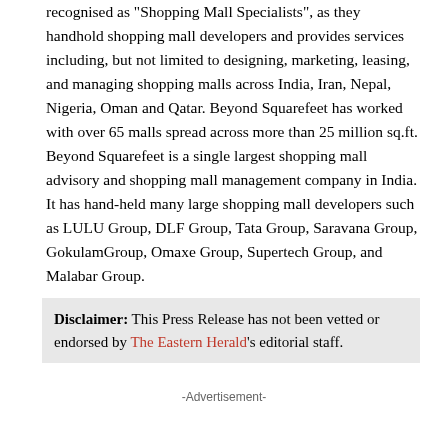recognised as "Shopping Mall Specialists", as they handhold shopping mall developers and provides services including, but not limited to designing, marketing, leasing, and managing shopping malls across India, Iran, Nepal, Nigeria, Oman and Qatar. Beyond Squarefeet has worked with over 65 malls spread across more than 25 million sq.ft. Beyond Squarefeet is a single largest shopping mall advisory and shopping mall management company in India. It has hand-held many large shopping mall developers such as LULU Group, DLF Group, Tata Group, Saravana Group, GokulamGroup, Omaxe Group, Supertech Group, and Malabar Group.
Disclaimer: This Press Release has not been vetted or endorsed by The Eastern Herald's editorial staff.
-Advertisement-